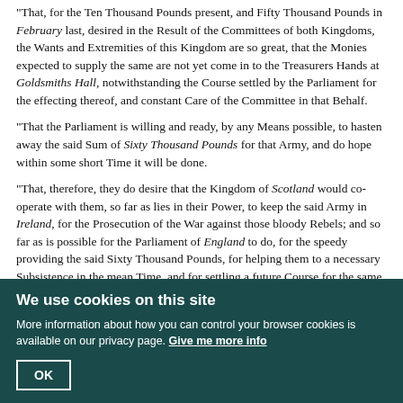"That, for the Ten Thousand Pounds present, and Fifty Thousand Pounds in February last, desired in the Result of the Committees of both Kingdoms, the Wants and Extremities of this Kingdom are so great, that the Monies expected to supply the same are not yet come in to the Treasurers Hands at Goldsmiths Hall, notwithstanding the Course settled by the Parliament for the effecting thereof, and constant Care of the Committee in that Behalf.
"That the Parliament is willing and ready, by any Means possible, to hasten away the said Sum of Sixty Thousand Pounds for that Army, and do hope within some short Time it will be done.
"That, therefore, they do desire that the Kingdom of Scotland would co-operate with them, so far as lies in their Power, to keep the said Army in Ireland, for the Prosecution of the War against those bloody Rebels; and so far as is possible for the Parliament of England to do, for the speedy providing the said Sixty Thousand Pounds, for helping them to a necessary Subsistence in the mean Time, and for settling a future Course for the same, they will apply themselves thereunto with all Readiness and Care."
"Additional Instructions, the Ninth of March, 1643, by the Lords and Commons assembled in Parliament, for John Earl of Rutland, Sir William Armyne Baronet, Sir Henry Vane Junior Knight, Thomas Hatcher, Henry Darley...
We use cookies on this site
More information about how you can control your browser cookies is available on our privacy page. Give me more info
OK